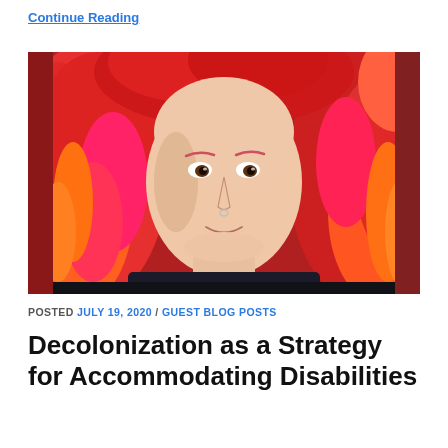Continue Reading
[Figure (photo): Close-up portrait of a person with brightly colored curly hair in shades of red, orange, and pink, looking directly at the camera with a slight smile.]
POSTED JULY 19, 2020 / GUEST BLOG POSTS
Decolonization as a Strategy for Accommodating Disabilities